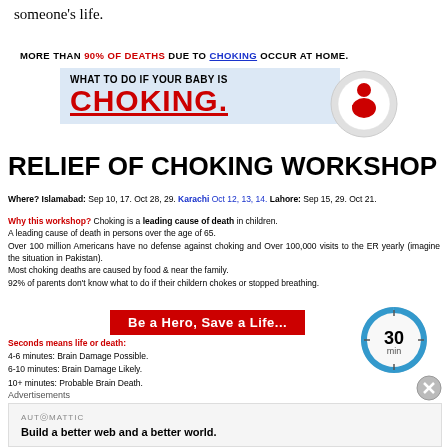someone's life.
[Figure (infographic): Choking workshop infographic showing stat bar, baby choking banner, workshop title, where/when info, why workshop text, hero button, timer circle, and seconds info]
Advertisements
[Figure (screenshot): Automattic ad: Build a better web and a better world.]